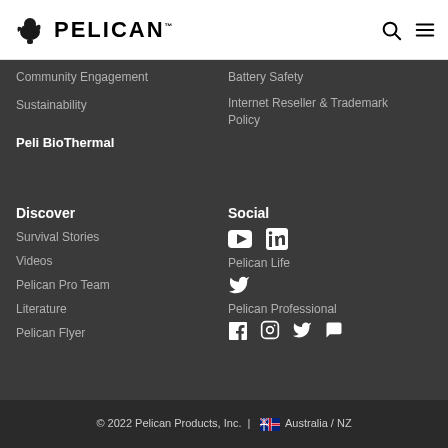Pelican logo, search icon, menu icon
Community Engagement
Sustainability
Battery Safety
Internet Reseller & Trademark Policy
Peli BioThermal
Discover
Survival Stories
Videos
Pelican Pro Team
Literature
Pelican Flyer
Social
Pelican Life
Pelican Professional
© 2022 Pelican Products, Inc. | Australia / NZ